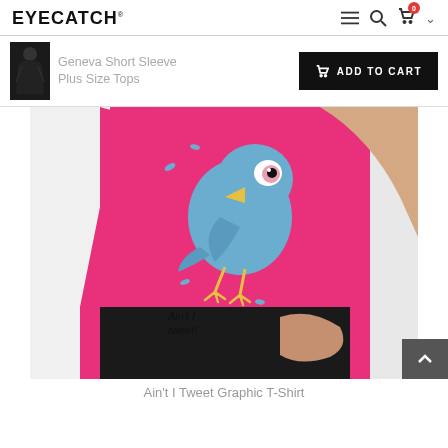EYECATCH®
Geneva Short Sleeve Plus Size Tops
ADD TO CART
[Figure (photo): Woman wearing a hot pink graphic t-shirt with a cartoon blue bird and text 'Ain't I tweet!' printed on it, paired with black trousers.]
Ain't I Tweet Graphic T-Shirt